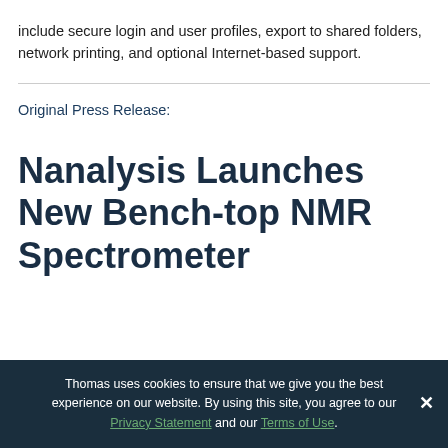include secure login and user profiles, export to shared folders, network printing, and optional Internet-based support.
Original Press Release:
Nanalysis Launches New Bench-top NMR Spectrometer
Thomas uses cookies to ensure that we give you the best experience on our website. By using this site, you agree to our Privacy Statement and our Terms of Use.